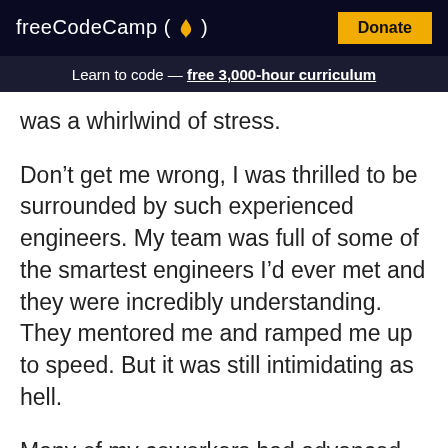freeCodeCamp(🔥)  Donate
Learn to code — free 3,000-hour curriculum
was a whirlwind of stress.
Don't get me wrong, I was thrilled to be surrounded by such experienced engineers. My team was full of some of the smartest engineers I'd ever met and they were incredibly understanding. They mentored me and ramped me up to speed. But it was still intimidating as hell.
Many of my coworkers had advanced degrees, some had been programming since they were